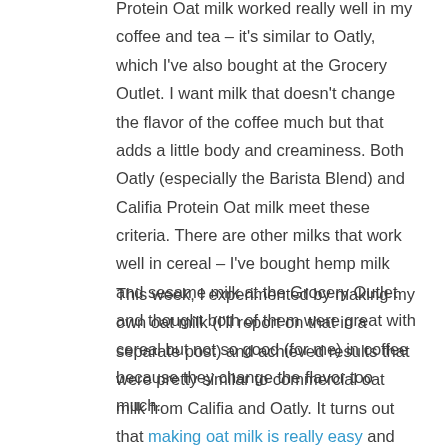Protein Oat milk worked really well in my coffee and tea – it's similar to Oatly, which I've also bought at the Grocery Outlet. I want milk that doesn't change the flavor of the coffee much but that adds a little body and creaminess. Both Oatly (especially the Barista Blend) and Califia Protein Oat milk meet these criteria. There are other milks that work well in cereal – I've bought hemp milk and sesame milk at the Grocery Outlet and thought both of them were great with cereal but not so good (for me) in coffee because they change the flavor too much.
This week, I experimented by making my own oat milk (I'll report on that in a separate post) and achieved results that were pretty similar to commercial oat milk from Califia and Oatly. It turns out that making oat milk is really easy and it's also dirt cheap. You may not think that you have the time (and on some weeks, perhaps